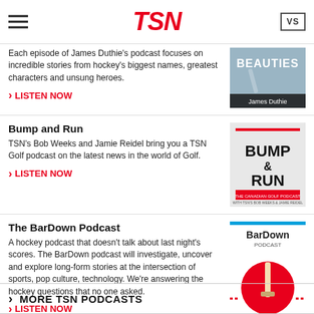TSN
Each episode of James Duthie's podcast focuses on incredible stories from hockey's biggest names, greatest characters and unsung heroes.
› LISTEN NOW
[Figure (photo): Beauties podcast cover art by James Duthie]
Bump and Run
TSN's Bob Weeks and Jamie Reidel bring you a TSN Golf podcast on the latest news in the world of Golf.
› LISTEN NOW
[Figure (photo): Bump and Run - The Canadian Golf Podcast cover art]
The BarDown Podcast
A hockey podcast that doesn't talk about last night's scores. The BarDown podcast will investigate, uncover and explore long-form stories at the intersection of sports, pop culture, technology. We're answering the hockey questions that no one asked.
› LISTEN NOW
[Figure (photo): BarDown Podcast cover art with hockey stick and TSN logo]
› MORE TSN PODCASTS